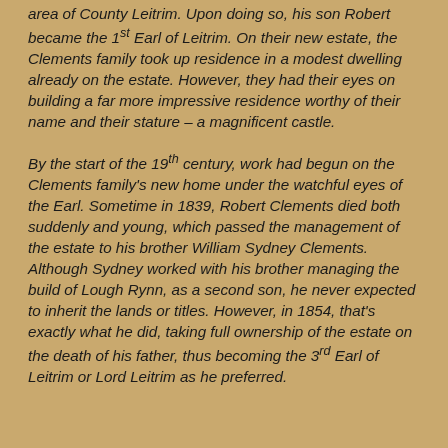area of County Leitrim. Upon doing so, his son Robert became the 1st Earl of Leitrim. On their new estate, the Clements family took up residence in a modest dwelling already on the estate. However, they had their eyes on building a far more impressive residence worthy of their name and their stature – a magnificent castle.
By the start of the 19th century, work had begun on the Clements family's new home under the watchful eyes of the Earl. Sometime in 1839, Robert Clements died both suddenly and young, which passed the management of the estate to his brother William Sydney Clements. Although Sydney worked with his brother managing the build of Lough Rynn, as a second son, he never expected to inherit the lands or titles. However, in 1854, that's exactly what he did, taking full ownership of the estate on the death of his father, thus becoming the 3rd Earl of Leitrim or Lord Leitrim as he preferred.